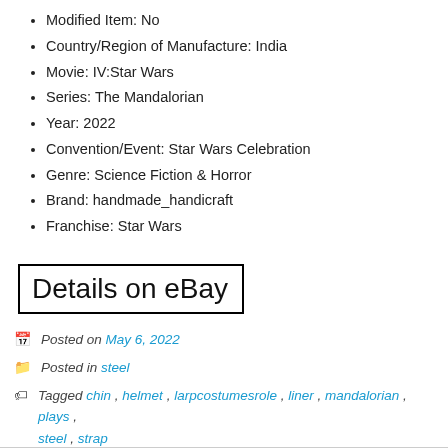Modified Item: No
Country/Region of Manufacture: India
Movie: IV:Star Wars
Series: The Mandalorian
Year: 2022
Convention/Event: Star Wars Celebration
Genre: Science Fiction & Horror
Brand: handmade_handicraft
Franchise: Star Wars
Details on eBay
Posted on May 6, 2022
Posted in steel
Tagged chin, helmet, larpcostumesrole, liner, mandalorian, plays, steel, strap